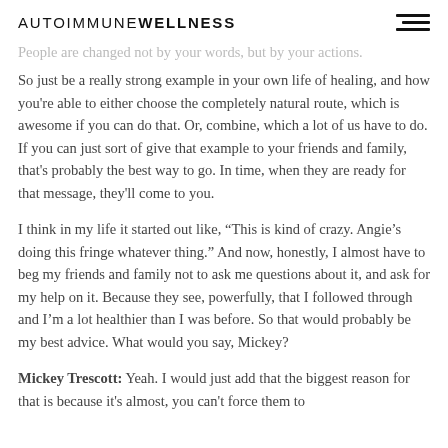AUTOIMMUNE WELLNESS
People are changed not by your words, but by your actions. So just be a really strong example in your own life of healing, and how you're able to either choose the completely natural route, which is awesome if you can do that. Or, combine, which a lot of us have to do. If you can just sort of give that example to your friends and family, that's probably the best way to go. In time, when they are ready for that message, they'll come to you.
I think in my life it started out like, “This is kind of crazy. Angie’s doing this fringe whatever thing.” And now, honestly, I almost have to beg my friends and family not to ask me questions about it, and ask for my help on it. Because they see, powerfully, that I followed through and I’m a lot healthier than I was before. So that would probably be my best advice. What would you say, Mickey?
Mickey Trescott: Yeah. I would just add that the biggest reason for that is because it’s almost, you can’t force them to change. What you learn is you’re better having their respect…